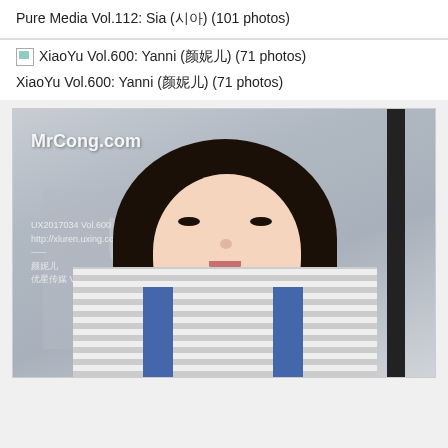Pure Media Vol.112: Sia (시아) (101 photos)
XiaoYu Vol.600: Yanni (颜妮儿) (71 photos)
XiaoYu Vol.600: Yanni (颜妮儿) (71 photos)
[Figure (photo): Photo of a young woman with long dark hair wearing a plaid shirt and denim overalls, with MrCong.com watermark]